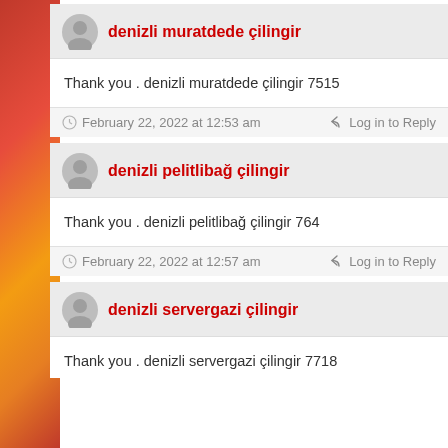denizli muratdede çilingir
Thank you . denizli muratdede çilingir 7515
February 22, 2022 at 12:53 am
Log in to Reply
denizli pelitlibağ çilingir
Thank you . denizli pelitlibağ çilingir 764
February 22, 2022 at 12:57 am
Log in to Reply
denizli servergazi çilingir
Thank you . denizli servergazi çilingir 7718